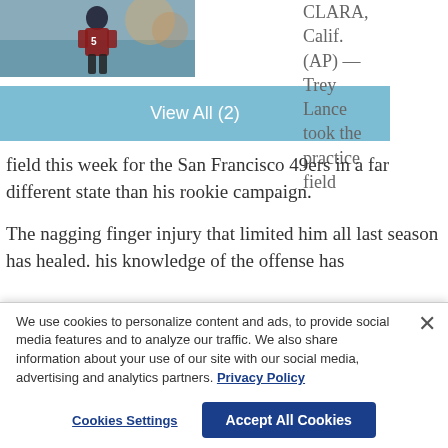[Figure (photo): Football player in dark jersey on practice field]
View All (2)
CLARA, Calif. (AP) — Trey Lance took the practice field this week for the San Francisco 49ers in a far different state than his rookie campaign.
The nagging finger injury that limited him all last season has healed. his knowledge of the offense has
We use cookies to personalize content and ads, to provide social media features and to analyze our traffic. We also share information about your use of our site with our social media, advertising and analytics partners. Privacy Policy
Cookies Settings
Accept All Cookies